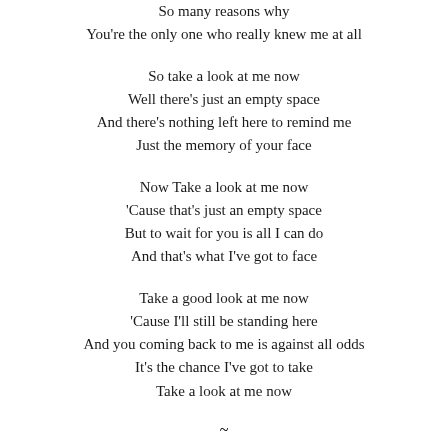So many reasons why
You're the only one who really knew me at all
So take a look at me now
Well there's just an empty space
And there's nothing left here to remind me
Just the memory of your face
Now Take a look at me now
'Cause that's just an empty space
But to wait for you is all I can do
And that's what I've got to face
Take a good look at me now
'Cause I'll still be standing here
And you coming back to me is against all odds
It's the chance I've got to take
Take a look at me now
~
used to be Phil Collins's song... but I love Westlife and Mariah Carey more...